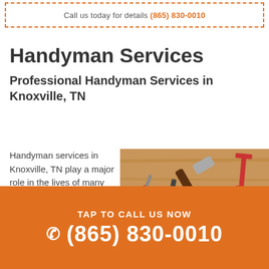Call us today for details (865) 830-0010
Handyman Services
Professional Handyman Services in Knoxville, TN
Handyman services in Knoxville, TN play a major role in the lives of many homeowners. You may think less of these hardworking
[Figure (photo): Photograph of various hand tools including a hammer, screwdriver, wrench, pliers, and clamp arranged on a wooden surface]
TAP TO CALL US NOW
(865) 830-0010